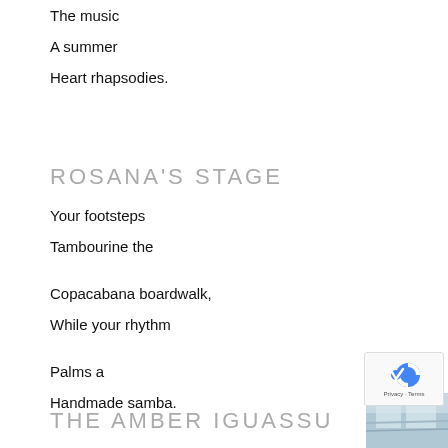The music
A summer
Heart rhapsodies.
ROSANA'S STAGE
Your footsteps
Tambourine the
Copacabana boardwalk,
While your rhythm
Palms a
Handmade samba.
THE AMBER IGUASSU
[Figure (photo): Partial photo visible at bottom-right corner, appears to show a waterfall or natural landscape]